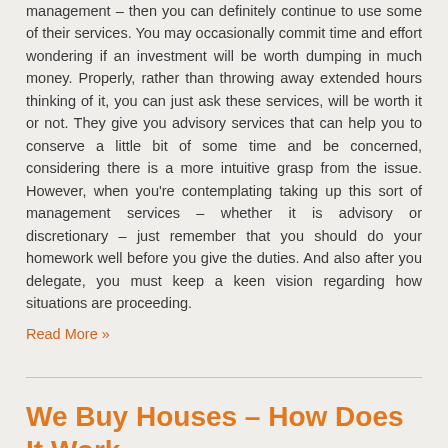management – then you can definitely continue to use some of their services. You may occasionally commit time and effort wondering if an investment will be worth dumping in much money. Properly, rather than throwing away extended hours thinking of it, you can just ask these services, will be worth it or not. They give you advisory services that can help you to conserve a little bit of some time and be concerned, considering there is a more intuitive grasp from the issue. However, when you're contemplating taking up this sort of management services – whether it is advisory or discretionary – just remember that you should do your homework well before you give the duties. And also after you delegate, you must keep a keen vision regarding how situations are proceeding.
Read More »
We Buy Houses – How Does It Work